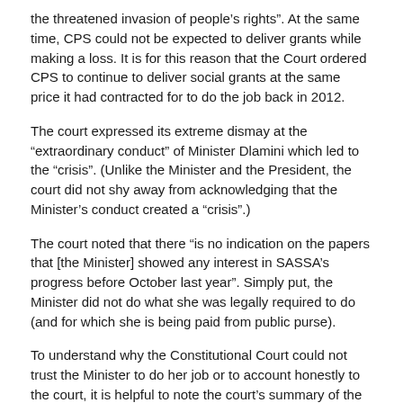the threatened invasion of people's rights". At the same time, CPS could not be expected to deliver grants while making a loss. It is for this reason that the Court ordered CPS to continue to deliver social grants at the same price it had contracted for to do the job back in 2012.
The court expressed its extreme dismay at the “extraordinary conduct” of Minister Dlamini which led to the “crisis”. (Unlike the Minister and the President, the court did not shy away from acknowledging that the Minister’s conduct created a “crisis”.)
The court noted that there “is no indication on the papers that [the Minister] showed any interest in SASSA’s progress before October last year”. Simply put, the Minister did not do what she was legally required to do (and for which she is being paid from public purse).
To understand why the Constitutional Court could not trust the Minister to do her job or to account honestly to the court, it is helpful to note the court’s summary of the facts which led to the crisis: